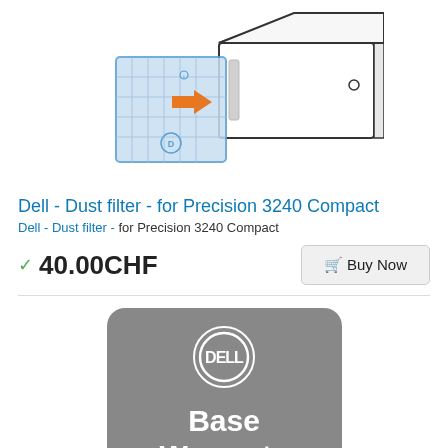[Figure (illustration): Isometric illustration of a Dell Precision 3240 Compact dust filter being inserted into the front of the computer, with an orange arrow indicating the insertion direction.]
Dell - Dust filter - for Precision 3240 Compact
Dell - Dust filter - for Precision 3240 Compact
40.00CHF
[Figure (logo): Dell Base Warranty card with Dell logo circle on a grey rounded rectangle background, showing 'Base Warranty' text in white bold.]